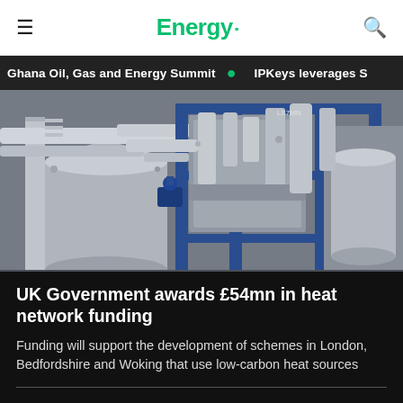Energy.
Ghana Oil, Gas and Energy Summit • IPKeys leverages S
[Figure (photo): Industrial heat network equipment showing pipes, valves, boilers and steel framework in a mechanical plant room.]
UK Government awards £54mn in heat network funding
Funding will support the development of schemes in London, Bedfordshire and Woking that use low-carbon heat sources